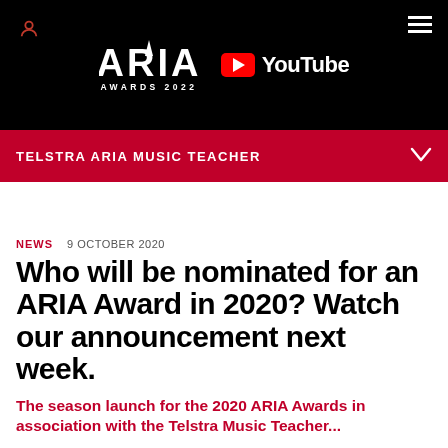[Figure (logo): ARIA Awards 2022 logo with YouTube partnership badge on black header background]
TELSTRA ARIA MUSIC TEACHER
NEWS   9 OCTOBER 2020
Who will be nominated for an ARIA Award in 2020? Watch our announcement next week.
The season launch for the 2020 ARIA Awards in association with the Telstra Music Teacher...